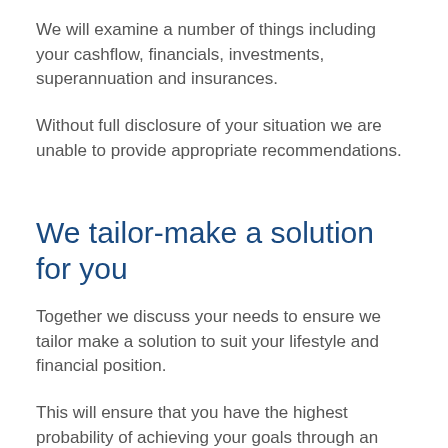We will examine a number of things including your cashflow, financials, investments, superannuation and insurances.
Without full disclosure of your situation we are unable to provide appropriate recommendations.
We tailor-make a solution for you
Together we discuss your needs to ensure we tailor make a solution to suit your lifestyle and financial position.
This will ensure that you have the highest probability of achieving your goals through an agreed strategy or platform for your future.